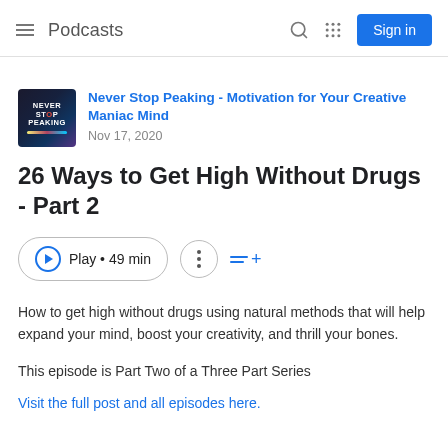Podcasts
Never Stop Peaking - Motivation for Your Creative Maniac Mind
Nov 17, 2020
26 Ways to Get High Without Drugs - Part 2
Play • 49 min
How to get high without drugs using natural methods that will help expand your mind, boost your creativity, and thrill your bones.
This episode is Part Two of a Three Part Series
Visit the full post and all episodes here.